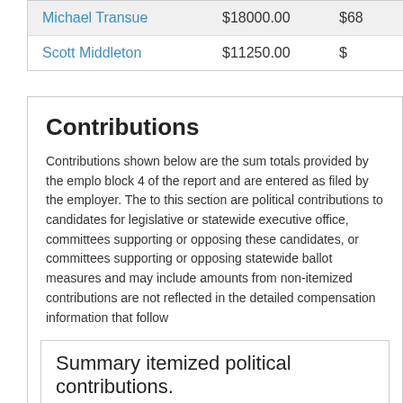| RECIPIENT NAME | AMOUNT |  |
| --- | --- | --- |
| Michael Transue | $18000.00 | $68... |
| Scott Middleton | $11250.00 | $... |
Contributions
Contributions shown below are the sum totals provided by the employer in block 4 of the report and are entered as filed by the employer. The totals in this section are political contributions to candidates for legislative or statewide executive office, committees supporting or opposing these candidates, or committees supporting or opposing statewide ballot measures and may include amounts from non-itemized contributions that are not reflected in the detailed compensation information that follows.
Summary itemized political contributions.
| RECIPIENT NAME | AMOUNT | DATE |
| --- | --- | --- |
| Janice Zahn | 250.00 | Wednesday, July 12, 2017 |
| Rebecca Saldana | 250.00 | Thursday, August 24, 2017 |